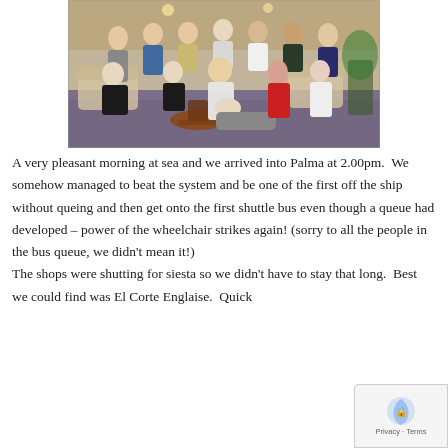[Figure (photo): Group photo of approximately 15 people dressed in formal evening attire, seated and standing in a cruise ship lounge/bar area with plush chairs and small tables.]
A very pleasant morning at sea and we arrived into Palma at 2.00pm.  We somehow managed to beat the system and be one of the first off the ship without queing and then get onto the first shuttle bus even though a queue had developed – power of the wheelchair strikes again! (sorry to all the people in the bus queue, we didn't mean it!)
The shops were shutting for siesta so we didn't have to stay that long.  Best we could find was El Corte Englaise.  Quick